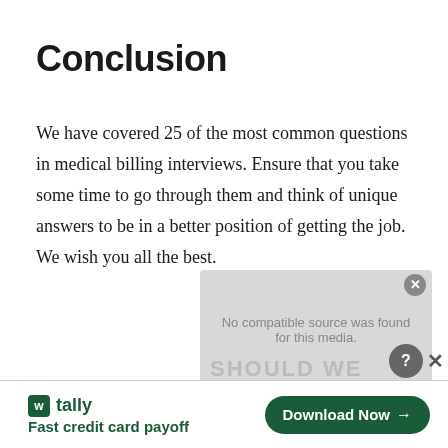Conclusion
We have covered 25 of the most common questions in medical billing interviews. Ensure that you take some time to go through them and think of unique answers to be in a better position of getting the job. We wish you all the best.
[Figure (screenshot): Video player placeholder showing 'No compatible source was found for this media.' with watermark text 'SHOULD WE' and a close button]
[Figure (screenshot): Advertisement banner for Tally app: logo icon, 'tally' text, 'Fast credit card payoff' tagline, and 'Download Now' button with arrow]